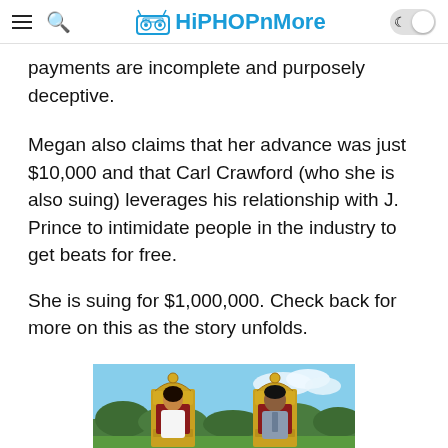HiPHOPnmore
payments are incomplete and purposely deceptive.
Megan also claims that her advance was just $10,000 and that Carl Crawford (who she is also suing) leverages his relationship with J. Prince to intimidate people in the industry to get beats for free.
She is suing for $1,000,000. Check back for more on this as the story unfolds.
[Figure (photo): Two people sitting on ornate gold thrones outdoors with trees and sky in the background. A woman on the left in white and a man on the right in a suit.]